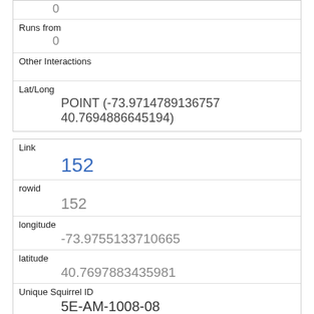| (partial top) | 0 |
| Runs from | 0 |
| Other Interactions |  |
| Lat/Long | POINT (-73.9714789136757 40.7694886645194) |
| Link | 152 |
| rowid | 152 |
| longitude | -73.9755133710665 |
| latitude | 40.7697883435981 |
| Unique Squirrel ID | 5E-AM-1008-08 |
| Hectare | 05E |
| Shift |  |